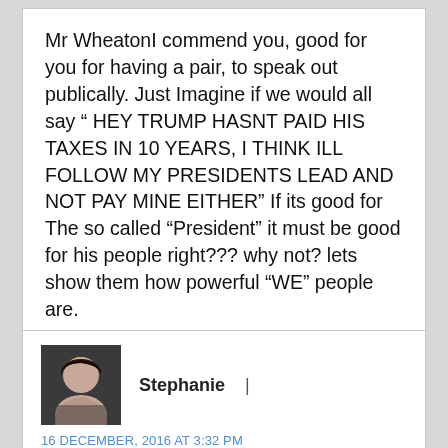Mr Wheaton I commend you, good for you for having a pair, to speak out publically. Just Imagine if we would all say " HEY TRUMP HASNT PAID HIS TAXES IN 10 YEARS, I THINK ILL FOLLOW MY PRESIDENTS LEAD AND NOT PAY MINE EITHER" If its good for The so called “President” it must be good for his people right??? why not? lets show them how powerful “WE” people are.
[Figure (photo): Small avatar photo of a woman with dark hair]
Stephanie  |
16 DECEMBER, 2016 AT 3:32 PM